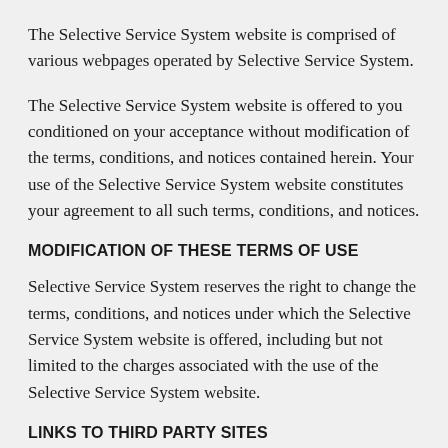The Selective Service System website is comprised of various webpages operated by Selective Service System.
The Selective Service System website is offered to you conditioned on your acceptance without modification of the terms, conditions, and notices contained herein. Your use of the Selective Service System website constitutes your agreement to all such terms, conditions, and notices.
MODIFICATION OF THESE TERMS OF USE
Selective Service System reserves the right to change the terms, conditions, and notices under which the Selective Service System website is offered, including but not limited to the charges associated with the use of the Selective Service System website.
LINKS TO THIRD PARTY SITES